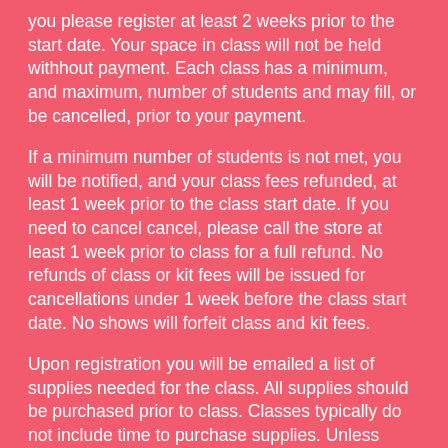you please register at least 2 weeks prior to the start date. Your space in class will not be held withhout payment. Each class has a minimum, and maximum, number of students and may fill, or be cancelled, prior to your payment.
If a minimum number of students is not met, you will be notified, and your class fees refunded, at least 1 week prior to the class start date.  If you need to cancel cancel, please call the store at least 1 week prior to class for a full refund. No refunds of class or kit fees will be issued for cancellations under 1 week before the class start date. No shows will forfeit class and kit fees.
Upon registration you will be emailed a list of supplies needed for the class. All supplies should be purchased prior to class. Classes typically do not include time to purchase supplies. Unless otherwise noted, all supplies are available at Sew What! Inc.  Students will receive a 10% discount on all supplies listed.